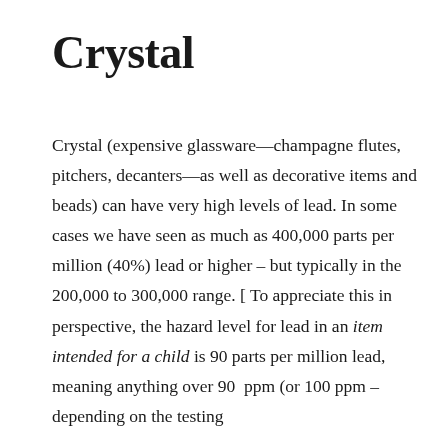Crystal
Crystal (expensive glassware—champagne flutes, pitchers, decanters—as well as decorative items and beads) can have very high levels of lead. In some cases we have seen as much as 400,000 parts per million (40%) lead or higher – but typically in the 200,000 to 300,000 range. [ To appreciate this in perspective, the hazard level for lead in an item intended for a child is 90 parts per million lead, meaning anything over 90 ppm (or 100 ppm – depending on the testing